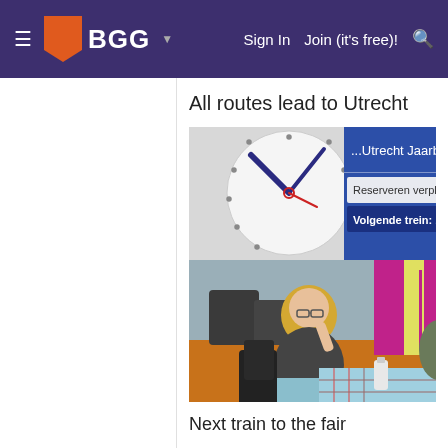BGG — Sign In  Join (it's free)!
All routes lead to Utrecht
[Figure (photo): Two photos: top photo shows a train station clock and a blue information board reading 'Utrecht Jaarbe...' with text 'Reserveren verplicht' and 'Volgende trein: 10:26 Inte...'. Bottom photo shows a woman with blonde hair and glasses sitting at a table playing a board game at what appears to be a convention, with an orange floor visible.]
Next train to the fair